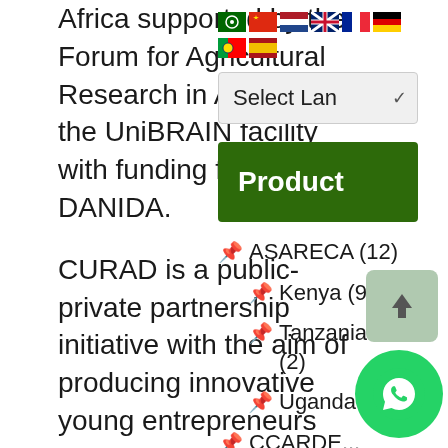Africa supported by the Forum for Agricultural Research in Africa under the UniBRAIN facility with funding from DANIDA.
[Figure (screenshot): Row of country flag icons (Arabic, Chinese, Dutch, UK, French, German, Portuguese, Spanish) and a Select Language dropdown]
[Figure (screenshot): Green Product button]
ASARECA (12)
Kenya (9)
Tanzania (2)
Uganda (
CCARDE...
CURAD is a public-private partnership initiative with the aim of producing innovative young entrepreneurs and agribusiness leaders to
[Figure (screenshot): WhatsApp floating action button (green circle with phone icon)]